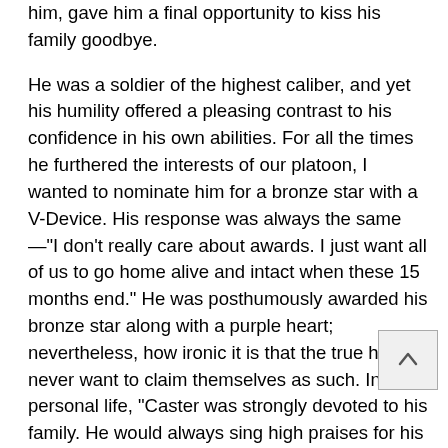him, gave him a final opportunity to kiss his family goodbye. He was a soldier of the highest caliber, and yet his humility offered a pleasing contrast to his confidence in his own abilities. For all the times he furthered the interests of our platoon, I wanted to nominate him for a bronze star with a V-Device. His response was always the same—“I don’t really care about awards. I just want all of us to go home alive and intact when these 15 months end.” He was posthumously awarded his bronze star along with a purple heart; nevertheless, how ironic it is that the true heroes never want to claim themselves as such. In his personal life, “Caster was strongly devoted to his family. He would always sing high praises for his wife and high school sweetheart, Tabbatha; whose outstanding cooking he would attribute both woefully and wistfully the weight gain he experienced a month before